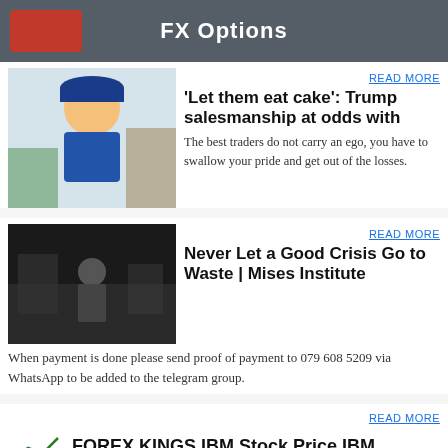FX Options
READ MORE
'Let them eat cake': Trump salesmanship at odds with
The best traders do not carry an ego, you have to swallow your pride and get out of the losses.
[Figure (photo): Young boy in blue uniform at a market stall]
READ MORE
Never Let a Good Crisis Go to Waste | Mises Institute
When payment is done please send proof of payment to 079 608 5209 via WhatsApp to be added to the telegram group.
[Figure (photo): Person standing outdoors in dark setting]
READ MORE
FOREX KINGS IBM Stock Price IBM